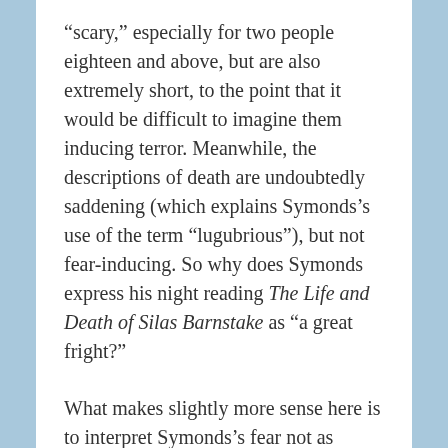“scary,” especially for two people eighteen and above, but are also extremely short, to the point that it would be difficult to imagine them inducing terror. Meanwhile, the descriptions of death are undoubtedly saddening (which explains Symonds’s use of the term “lugubrious”), but not fear-inducing. So why does Symonds express his night reading The Life and Death of Silas Barnstake as “a great fright?”
What makes slightly more sense here is to interpret Symonds’s fear not as terror, but as a sort of existential dread. After all, Symonds’s mother died of scarlet fever when he was only four (Memoirs, 63). Maybe Gwynne’s descriptions of death were a little too familiar…